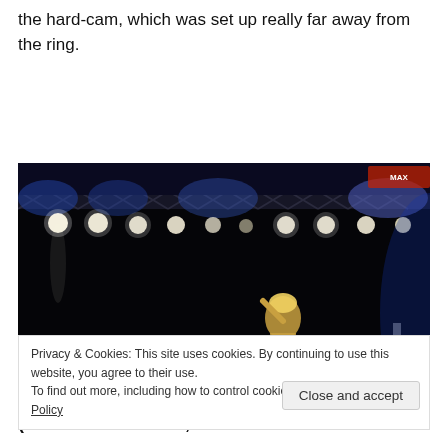the hard-cam, which was set up really far away from the ring.
[Figure (photo): Wrestling ring photo taken from far away with stage lighting — bright white spotlights along a truss structure above a dark arena, with a performer visible in the ring]
Privacy & Cookies: This site uses cookies. By continuing to use this website, you agree to their use.
To find out more, including how to control cookies, see here: Cookie Policy
Close and accept
(Blaster McMassive, Flex Rumblecrunch & Max